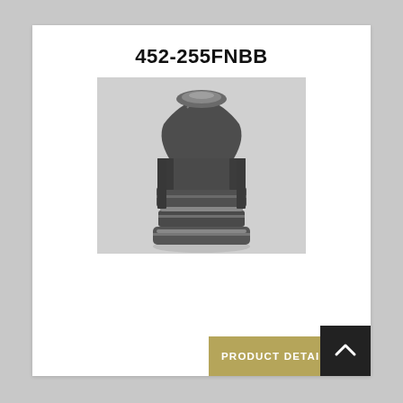452-255FNBB
[Figure (photo): Black and white photograph of a lead cast bullet (452-255FNBB) with a flat nose and multiple lube grooves, standing upright on a flat surface.]
PRODUCT DETAILS